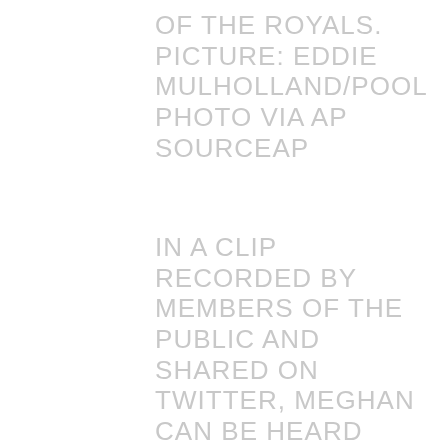OF THE ROYALS. PICTURE: EDDIE MULHOLLAND/POOL PHOTO VIA AP SOURCEAP
IN A CLIP RECORDED BY MEMBERS OF THE PUBLIC AND SHARED ON TWITTER, MEGHAN CAN BE HEARD SPEAKING TO A WOMAN WHO ASKED HER HOW SHE WAS ENJOYING HER NEW LIFE WITH HARRY.